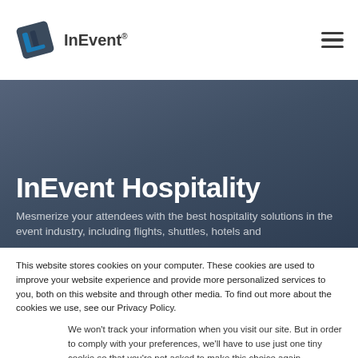InEvent®
[Figure (logo): InEvent logo: tilted square badge with stylized 'In' monogram in blue and dark colors, followed by text 'InEvent®']
InEvent Hospitality
Mesmerize your attendees with the best hospitality solutions in the event industry, including flights, shuttles, hotels and
This website stores cookies on your computer. These cookies are used to improve your website experience and provide more personalized services to you, both on this website and through other media. To find out more about the cookies we use, see our Privacy Policy.
We won't track your information when you visit our site. But in order to comply with your preferences, we'll have to use just one tiny cookie so that you're not asked to make this choice again.
Accept
Decline